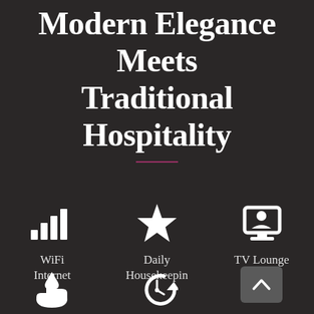Modern Elegance Meets Traditional Hospitality
[Figure (infographic): Three amenity icons: WiFi/Internet (signal bars), Daily Housekeeping (star), TV Lounge (screen with person)]
[Figure (infographic): Three more icons at bottom: water/hand icon, history/clock icon, and a scroll-up button]